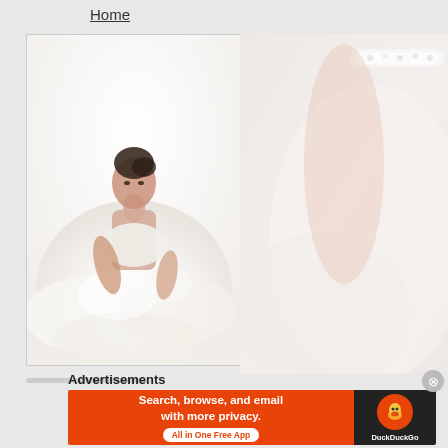Home
[Figure (photo): A bride in a large white ruffled wedding gown, dark hair up, looking over her shoulder. Studio white background.]
[Figure (photo): Close-up background photo of a bride's lace garter and white dress, faded/washed out.]
Advertisements
[Figure (screenshot): DuckDuckGo advertisement banner: orange background on left reading 'Search, browse, and email with more privacy. All in One Free App' with white pill button, dark right panel with DuckDuckGo duck logo and text.]